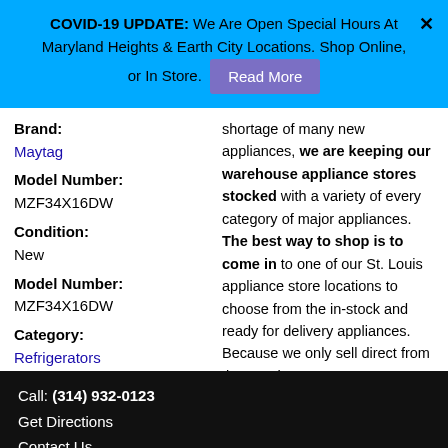COVID-19 UPDATE: We Are Open Special Hours At Maryland Heights & Earth City Locations. Shop Online, or In Store. Read More
Brand:
Maytag
Model Number:
MZF34X16DW
Condition:
New
Model Number:
MZF34X16DW
Category:
Refrigerators
Capacity:
15.70
shortage of many new appliances, we are keeping our warehouse appliance stores stocked with a variety of every category of major appliances. The best way to shop is to come in to one of our St. Louis appliance store locations to choose from the in-stock and ready for delivery appliances. Because we only sell direct from the warehouse, our customers never need to wait on
Call: (314) 932-0123
Get Directions
Contact Us